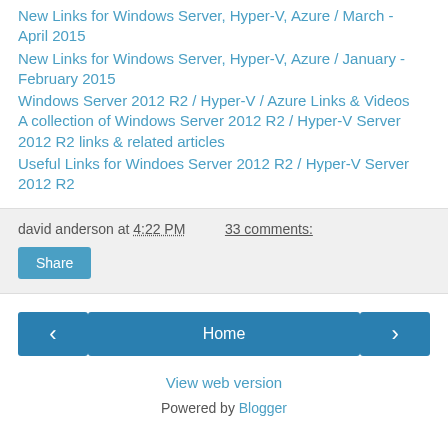New Links for Windows Server, Hyper-V, Azure / March - April 2015
New Links for Windows Server, Hyper-V, Azure / January - February 2015
Windows Server 2012 R2 / Hyper-V / Azure Links & Videos A collection of Windows Server 2012 R2 / Hyper-V Server 2012 R2 links & related articles
Useful Links for Windoes Server 2012 R2 / Hyper-V Server 2012 R2
david anderson at 4:22 PM    33 comments:
Share
‹  Home  ›
View web version
Powered by Blogger